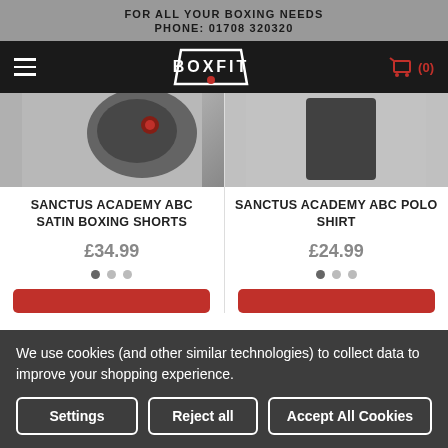FOR ALL YOUR BOXING NEEDS
PHONE: 01708 320320
[Figure (logo): BOXFIT logo in white on black navigation bar with hamburger menu and red shopping cart icon showing (0) items]
[Figure (photo): Partial view of Sanctus Academy ABC Satin Boxing Shorts product image]
SANCTUS ACADEMY ABC SATIN BOXING SHORTS
£34.99
[Figure (photo): Partial view of Sanctus Academy ABC Polo Shirt product image]
SANCTUS ACADEMY ABC POLO SHIRT
£24.99
We use cookies (and other similar technologies) to collect data to improve your shopping experience.
Settings | Reject all | Accept All Cookies